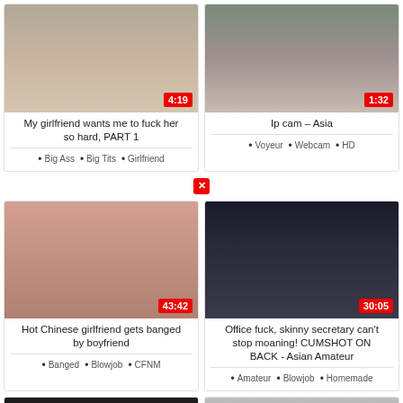[Figure (screenshot): Video thumbnail grid showing adult video content cards with titles, durations, and tags]
My girlfriend wants me to fuck her so hard, PART 1
Big Ass • Big Tits • Girlfriend
Ip cam – Asia
Voyeur • Webcam • HD
Hot Chinese girlfriend gets banged by boyfriend
Banged • Blowjob • CFNM
Office fuck, skinny secretary can't stop moaning! CUMSHOT ON BACK - Asian Amateur
Amateur • Blowjob • Homemade